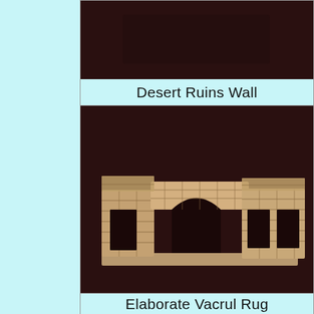[Figure (photo): Partial view of a 3D rendered object on dark brown background — top portion of previous catalog item, cropped]
Desert Ruins Wall
[Figure (photo): 3D rendered model of desert ruins wall segment — sandy stone brickwork with arched gateway openings, dark brown background]
Elaborate Vacrul Rug
[Figure (photo): Partial view of 3D rendered rug object on dark brown background — bottom portion cropped at page edge]